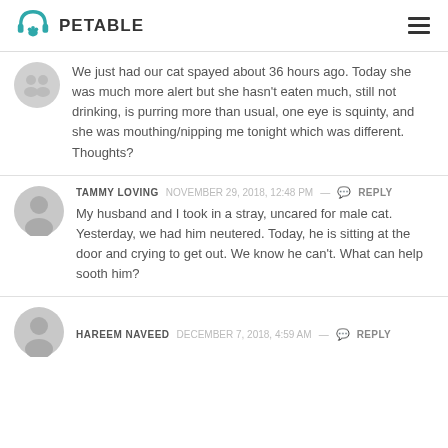PETABLE
We just had our cat spayed about 36 hours ago. Today she was much more alert but she hasn't eaten much, still not drinking, is purring more than usual, one eye is squinty, and she was mouthing/nipping me tonight which was different. Thoughts?
TAMMY LOVING   NOVEMBER 29, 2018, 12:48 PM —  REPLY
My husband and I took in a stray, uncared for male cat. Yesterday, we had him neutered. Today, he is sitting at the door and crying to get out. We know he can't. What can help sooth him?
HAREEM NAVEED   DECEMBER 7, 2018, 4:59 AM —  REPLY